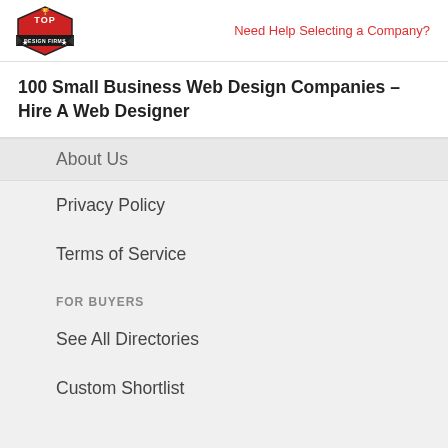Top Design Firms logo | Need Help Selecting a Company?
100 Small Business Web Design Companies – Hire A Web Designer
About Us
Privacy Policy
Terms of Service
FOR BUYERS
See All Directories
Custom Shortlist